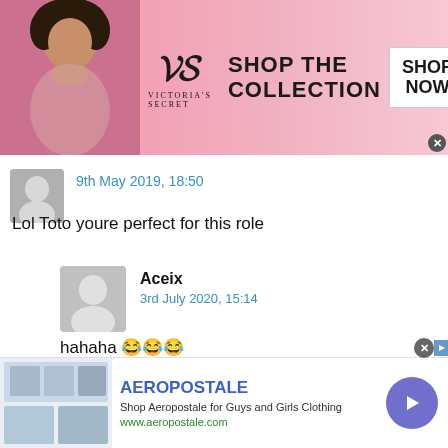[Figure (photo): Victoria's Secret advertisement banner with a woman model on the left, VS logo in the center, 'SHOP THE COLLECTION' text, and a 'SHOP NOW' button on the right.]
9th May 2019, 18:50
Lol Toto youre perfect for this role
Aceix
3rd July 2020, 15:14
hahaha 😂😂😂
Will
9th May 2019, 18:56
[Figure (screenshot): Aeropostale advertisement banner at the bottom with store images, brand name, description, website URL, and a purple circular button with chevron.]